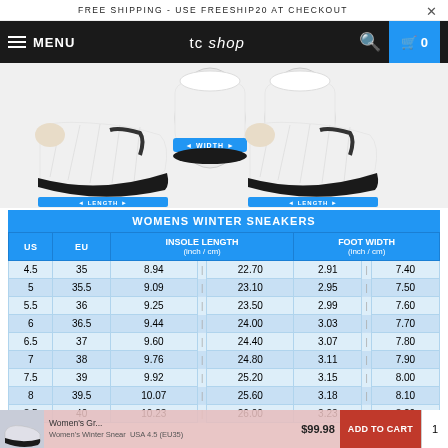FREE SHIPPING - USE FREESHIP20 AT CHECKOUT
MENU   tc shop   0
[Figure (photo): Three views of white winter sneaker/boot showing WIDTH and LENGTH measurement arrows on blue labels]
| US | EU | INSOLE LENGTH (inch / cm) |  | FOOT WIDTH (inch / cm) |  |
| --- | --- | --- | --- | --- | --- |
| 4.5 | 35 | 8.94 | | | 22.70 | 2.91 | | | 7.40 |
| 5 | 35.5 | 9.09 | | | 23.10 | 2.95 | | | 7.50 |
| 5.5 | 36 | 9.25 | | | 23.50 | 2.99 | | | 7.60 |
| 6 | 36.5 | 9.44 | | | 24.00 | 3.03 | | | 7.70 |
| 6.5 | 37 | 9.60 | | | 24.40 | 3.07 | | | 7.80 |
| 7 | 38 | 9.76 | | | 24.80 | 3.11 | | | 7.90 |
| 7.5 | 39 | 9.92 | | | 25.20 | 3.15 | | | 8.00 |
| 8 | 39.5 | 10.07 | | | 25.60 | 3.18 | | | 8.10 |
| 8.5 | 40 | 10.23 | | | 26.00 | 3.23 | | | 8.20 |
Women's Gr...   $99.98   ADD TO CART
Women's Winter Snear   USA 4.5 (EU35)   1